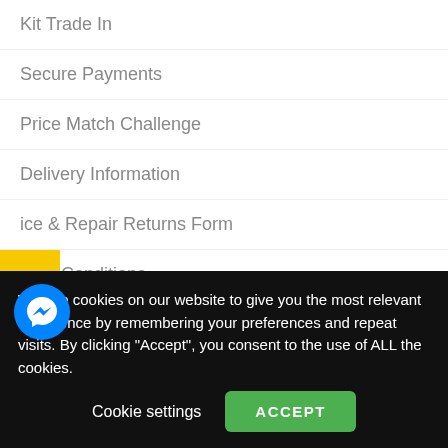Kit Trade In
Secure Payments
Price Match Challenge
Delivery Information
ice & Repair Returns Form
ns & Conditions
acy Policy
up to our newsletter
rns & Cancellations
[Figure (other): Feefo Reviews yellow vertical tab on left side]
We use cookies on our website to give you the most relevant experience by remembering your preferences and repeat visits. By clicking "Accept", you consent to the use of ALL the cookies.
[Figure (other): Facebook Messenger blue circular icon]
Cookie settings
ACCEPT